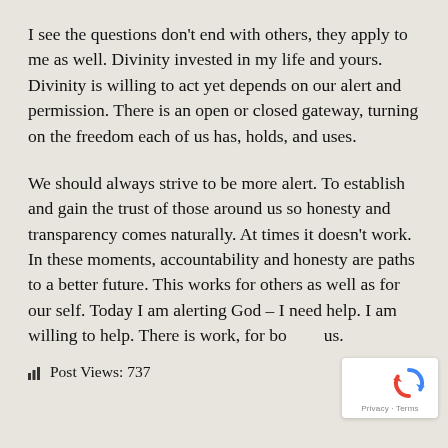I see the questions don't end with others, they apply to me as well.  Divinity invested in my life and yours.  Divinity is willing to act yet depends on our alert and permission.  There is an open or closed gateway, turning on the freedom each of us has, holds, and uses.
We should always strive to be more alert.  To establish and gain the trust of those around us so honesty and transparency comes naturally.  At times it doesn't work.  In these moments, accountability and honesty are paths to a better future.  This works for others as well as for our self.  Today I am alerting God – I need help.  I am willing to help.  There is work, for both of us.
Post Views: 737